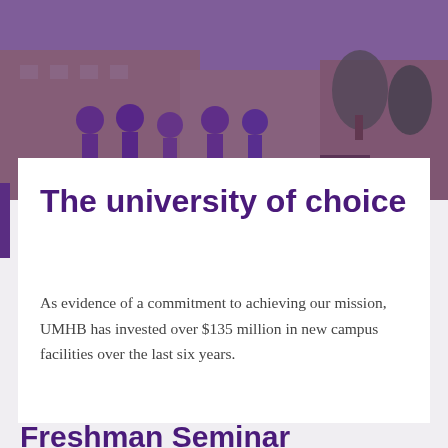[Figure (photo): Campus photo showing students in purple uniforms gathered outdoors near a brick building with trees and benches, overlaid with a purple tint]
The university of choice
As evidence of a commitment to achieving our mission, UMHB has invested over $135 million in new campus facilities over the last six years.
Freshman Seminar